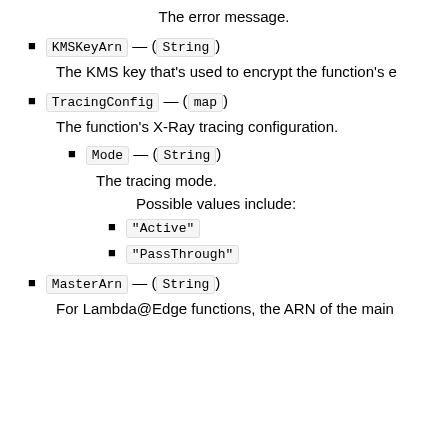The error message.
KMSKeyArn — (String)
The KMS key that's used to encrypt the function's e
TracingConfig — (map)
The function's X-Ray tracing configuration.
Mode — (String)
The tracing mode.
Possible values include:
"Active"
"PassThrough"
MasterArn — (String)
For Lambda@Edge functions, the ARN of the main